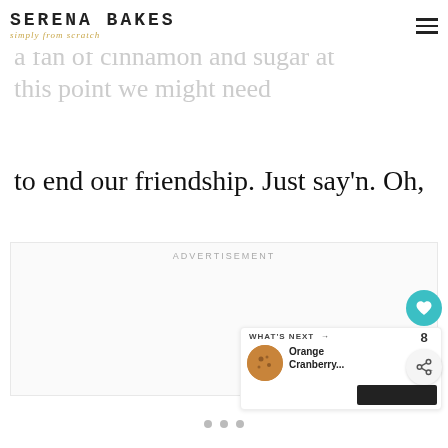SERENA BAKES simply from scratch
cinnamon and sugar. If you aren't a fan of cinnamon and sugar at this point we might need to end our friendship. Just say'n. Oh, and let's not forget the totally delicious crinkly top!
ADVERTISEMENT
[Figure (other): Like/heart button showing count of 8 and share button]
[Figure (infographic): What's next card showing Orange Cranberry... with cookie thumbnail]